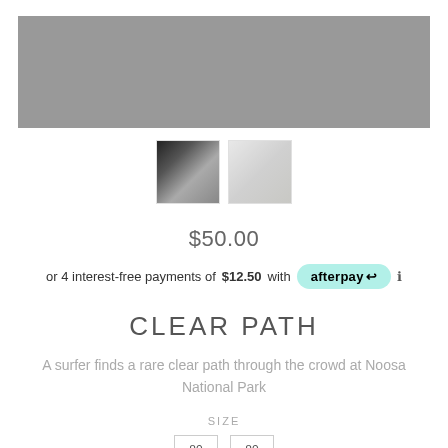[Figure (photo): Large gray placeholder image for product photo]
[Figure (photo): Two product thumbnail images: first shows surfer/nature scene in dark tones, second shows artwork on a living room wall]
$50.00
or 4 interest-free payments of $12.50 with afterpay
CLEAR PATH
A surfer finds a rare clear path through the crowd at Noosa National Park
SIZE